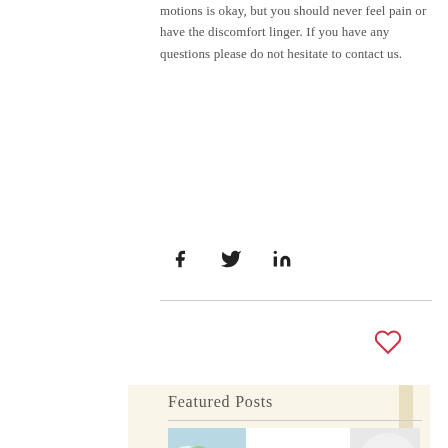motions is okay, but you should never feel pain or have the discomfort linger. If you have any questions please do not hesitate to contact us.
[Figure (other): Social media share icons: Facebook (f), Twitter bird, LinkedIn (in)]
[Figure (other): Heart/like icon in red outline]
Featured Posts
[Figure (other): Book cover image: Dietary Guidelines for Americans 2015-2020 Eighth Edition, with food photos on left and right side panels]